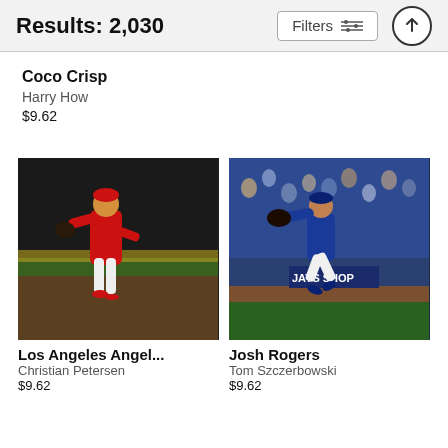Results: 2,030 | Filters
Coco Crisp
Harry How
$9.62
[Figure (photo): Baseball player in red Angels uniform fielding in pitching stance on baseball field at night]
Los Angeles Angel...
Christian Petersen
$9.62
[Figure (photo): Baseball player in blue Toronto Blue Jays uniform leaping mid-air to throw ball, crowd visible in background, JAYS SHOP sign visible]
Josh Rogers
Tom Szczerbowski
$9.62